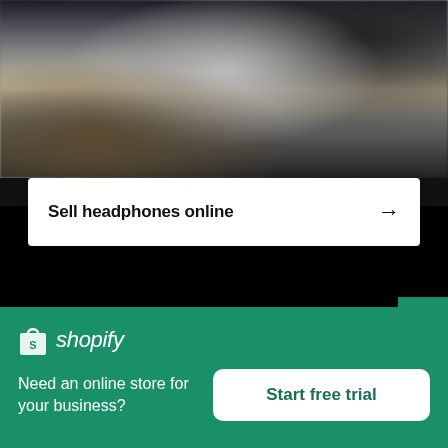[Figure (photo): Blurred photo of a person, partial figure visible against a grey/neutral background]
Sell headphones online →
[Figure (photo): Blurred close-up photo of wooden clothing hangers with colorful garments]
[Figure (logo): Shopify logo — shopping bag icon with 'shopify' wordmark in white italic on green background]
Need an online store for your business?
Start free trial